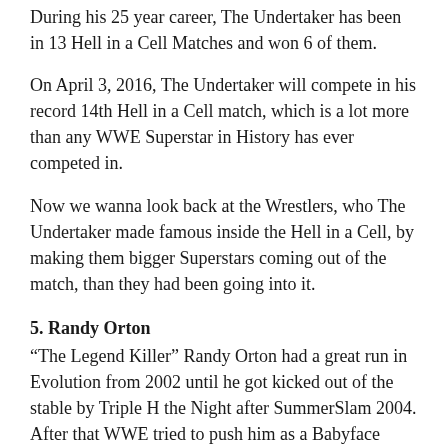During his 25 year career, The Undertaker has been in 13 Hell in a Cell Matches and won 6 of them.
On April 3, 2016, The Undertaker will compete in his record 14th Hell in a Cell match, which is a lot more than any WWE Superstar in History has ever competed in.
Now we wanna look back at the Wrestlers, who The Undertaker made famous inside the Hell in a Cell, by making them bigger Superstars coming out of the match, than they had been going into it.
5. Randy Orton
“The Legend Killer” Randy Orton had a great run in Evolution from 2002 until he got kicked out of the stable by Triple H the Night after SummerSlam 2004. After that WWE tried to push him as a Babyface World Heavyweight Champion, but it failed pretty bad, so they took the Title off him at the very next PPV ‘WWE Unforgiven 2004’.